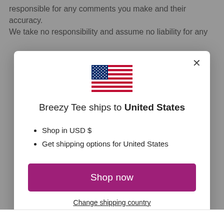responsible for any comments you make and their accuracy. We take no responsibility and assume no liability for any
[Figure (screenshot): Modal dialog showing US flag, shipping destination message for Breezy Tee to United States, list items about USD and shipping options, a purple Shop now button, and a Change shipping country link]
Breezy Tee ships to United States
Shop in USD $
Get shipping options for United States
Shop now
Change shipping country